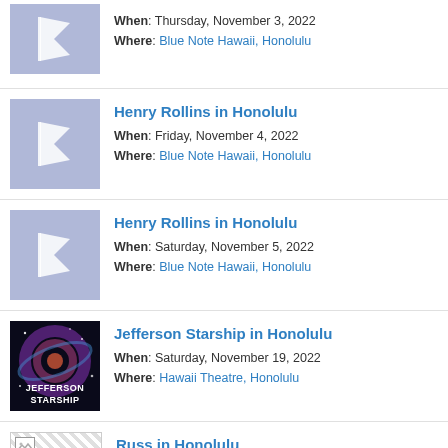When: Thursday, November 3, 2022
Where: Blue Note Hawaii, Honolulu
Henry Rollins in Honolulu
When: Friday, November 4, 2022
Where: Blue Note Hawaii, Honolulu
Henry Rollins in Honolulu
When: Saturday, November 5, 2022
Where: Blue Note Hawaii, Honolulu
Jefferson Starship in Honolulu
When: Saturday, November 19, 2022
Where: Hawaii Theatre, Honolulu
Russ in Honolulu
When: Saturday, November 19, 2022
Where: Neal S Blaisdell Arena, Honolulu